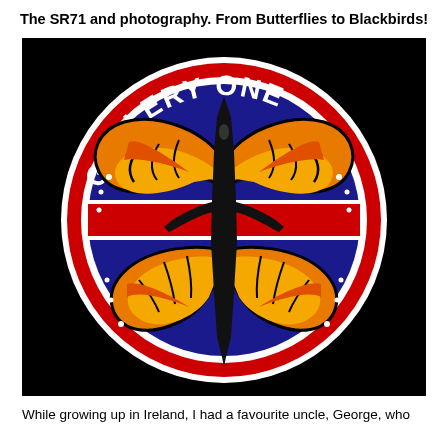The SR71 and photography. From Butterflies to Blackbirds!
[Figure (logo): Gallery One logo: a circular emblem with blue, red and white concentric rings, 'GALLERY ONE' text arched at top in white on blue background. Center features a silhouette of an SR-71 Blackbird aircraft overlaid with a monarch butterfly with orange, yellow and black wings. All on a black background.]
While growing up in Ireland, I had a favourite uncle, George, who